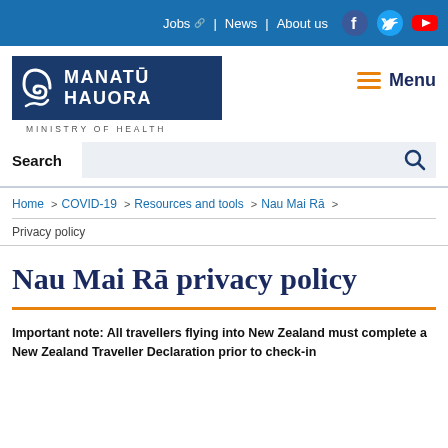Jobs | News | About us
[Figure (logo): Manatū Hauora Ministry of Health logo - dark blue background with white koru swirl and text MANATŪ HAUORA, below: MINISTRY OF HEALTH]
Menu
Search
Home > COVID-19 > Resources and tools > Nau Mai Rā >
Privacy policy
Nau Mai Rā privacy policy
Important note: All travellers flying into New Zealand must complete a New Zealand Traveller Declaration prior to check-in